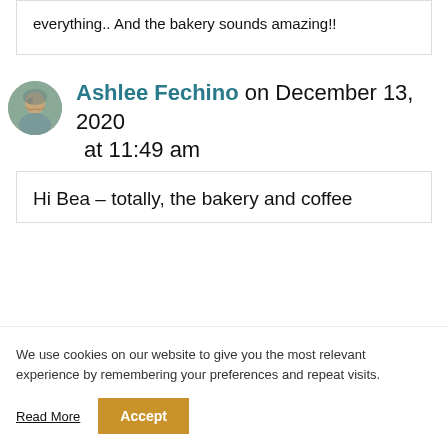everything.. And the bakery sounds amazing!!
Ashlee Fechino on December 13, 2020 at 11:49 am
Hi Bea – totally, the bakery and coffee
We use cookies on our website to give you the most relevant experience by remembering your preferences and repeat visits.
Read More
Accept